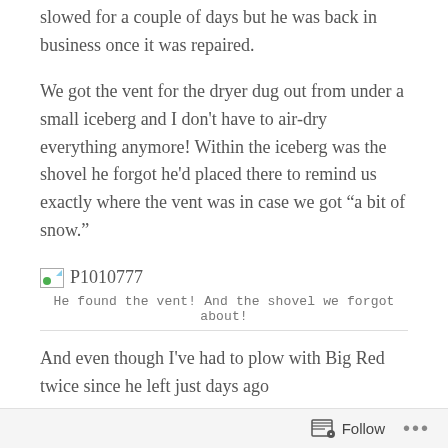slowed for a couple of days but he was back in business once it was repaired.
We got the vent for the dryer dug out from under a small iceberg and I don't have to air-dry everything anymore! Within the iceberg was the shovel he forgot he'd placed there to remind us exactly where the vent was in case we got “a bit of snow.”
[Figure (photo): Broken image placeholder labeled P1010777]
He found the vent! And the shovel we forgot about!
And even though I've had to plow with Big Red twice since he left just days ago
Follow ...